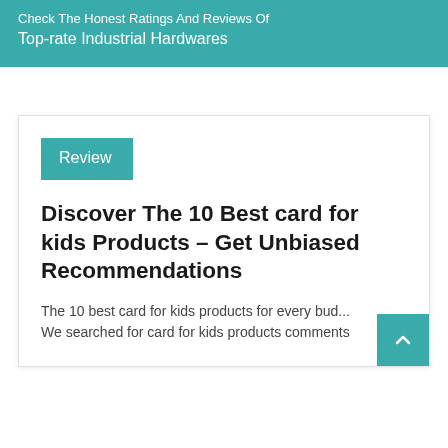Check The Honest Ratings And Reviews Of Top-rate Industrial Hardwares
Review
Discover The 10 Best card for kids Products – Get Unbiased Recommendations
The 10 best card for kids products for every bud... We searched for card for kids products comments